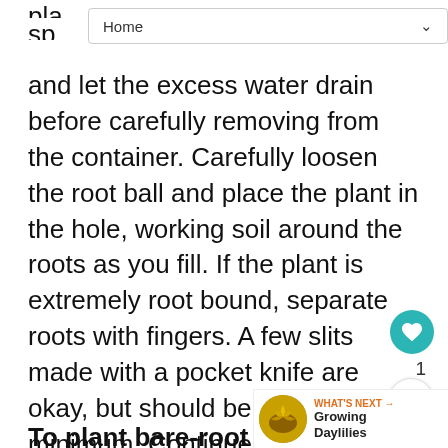Home
pla spa between. Water the plant thoroughly and let the excess water drain before carefully removing from the container. Carefully loosen the root ball and place the plant in the hole, working soil around the roots as you fill. If the plant is extremely root bound, separate roots with fingers. A few slits made with a pocket knife are okay, but should be kept to a minimum. Continue filling in soil and water thoroughly, protecting from direct sun until stable.
To plant bare-root plants: Plant as soon as possible after purchase. Prepare suitable planting holes, spread roots and work soil among roots as you fill in. Water well and